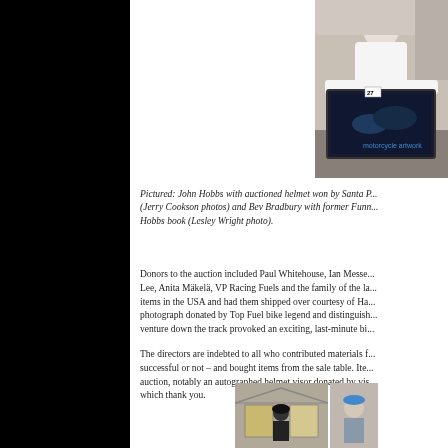[Figure (photo): Person in white t-shirt holding a dark framed item with motorcycle artwork, numbered tag 27 visible]
Pictured: John Hobbs with auctioned helmet won by Santa P... (Jerry Cookson photos) and Bev Bradbury with former Funn... Hobbs book (Lesley Wright photo).
Donors to the auction included Paul Whitehouse, Ian Messe... Lee, Anita Mäkelä, VP Racing Fuels and the family of the la... items in the USA and had them shipped over courtesy of Ha... photograph donated by Top Fuel bike legend and distinguish... venture down the track provoked an exciting, last-minute bi...
The directors are indebted to all who contributed materials f... successful or not – and bought items from the sale table. Ite... auction, notably an autographed helmet visor donated by vis... which thank you.
[Figure (photo): Two bottom photos showing people at what appears to be an outdoor event with tent structures]